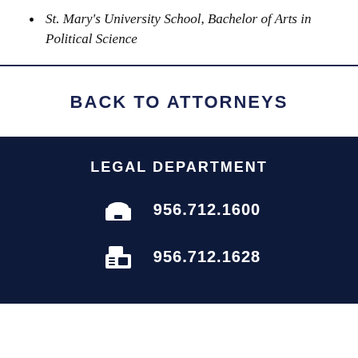St. Mary's University School, Bachelor of Arts in Political Science
BACK TO ATTORNEYS
LEGAL DEPARTMENT
956.712.1600
956.712.1628